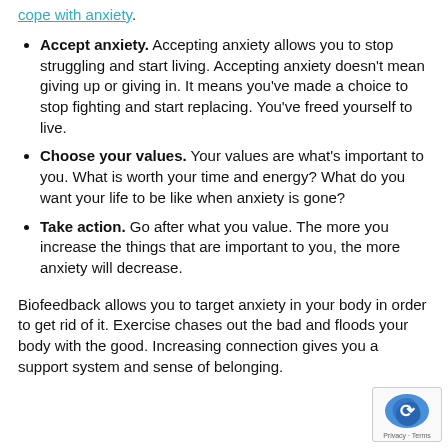cope with anxiety.
Accept anxiety. Accepting anxiety allows you to stop struggling and start living. Accepting anxiety doesn't mean giving up or giving in. It means you've made a choice to stop fighting and start replacing. You've freed yourself to live.
Choose your values. Your values are what's important to you. What is worth your time and energy? What do you want your life to be like when anxiety is gone?
Take action. Go after what you value. The more you increase the things that are important to you, the more anxiety will decrease.
Biofeedback allows you to target anxiety in your body in order to get rid of it. Exercise chases out the bad and floods your body with the good. Increasing connection gives you a support system and sense of belonging.